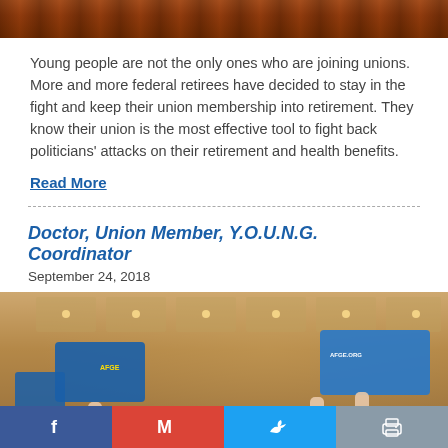[Figure (photo): Top portion of a photo showing people at a union event with warm orange/brown tones]
Young people are not the only ones who are joining unions. More and more federal retirees have decided to stay in the fight and keep their union membership into retirement. They know their union is the most effective tool to fight back politicians' attacks on their retirement and health benefits.
Read More
Doctor, Union Member, Y.O.U.N.G. Coordinator
September 24, 2018
[Figure (photo): People at a union rally holding up blue signs with hands raised in a conference room setting]
Social sharing buttons: Facebook, Gmail, Twitter, Print